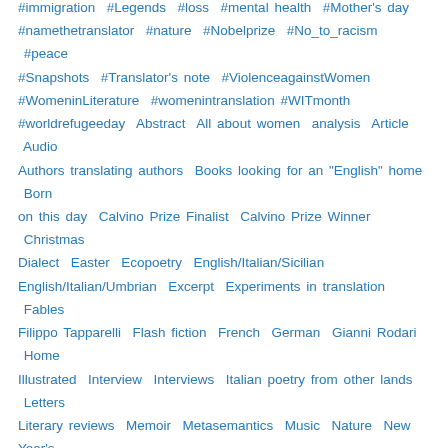#immigration #Legends #loss #mental health #Mother's day #namethetranslator #nature #Nobelprize #No_to_racism #peace #Snapshots #Translator's note #ViolenceagainstWomen #WomeninLiterature #womenintranslation #WITmonth #worldrefugeeday Abstract All about women analysis Article Audio Authors translating authors Books looking for an "English" home Born on this day Calvino Prize Finalist Calvino Prize Winner Christmas Dialect Easter Ecopoetry English/Italian/Sicilian English/Italian/Umbrian Excerpt Experiments in translation Fables Filippo Tapparelli Flash fiction French German Gianni Rodari Home Illustrated Interview Interviews Italian poetry from other lands Letters Literary reviews Memoir Metasemantics Music Nature New Year's On books On translation On writing Parallel from the world Poetry Poetry women Poets translating poets Prose Quotes Rhyme Romanian Senza categoria Sicilian>Engish Sicilian>English Snapshots Social justice The Italian Resistance The most beautiful opening paragraphs Translating yourself Translation studies Tuscan fables unparallel Witticisms words Words Reflected